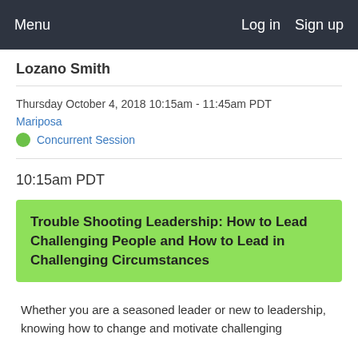Menu    Log in   Sign up
Lozano Smith
Thursday October 4, 2018 10:15am - 11:45am PDT
Mariposa
Concurrent Session
10:15am PDT
Trouble Shooting Leadership: How to Lead Challenging People and How to Lead in Challenging Circumstances
Whether you are a seasoned leader or new to leadership, knowing how to change and motivate challenging